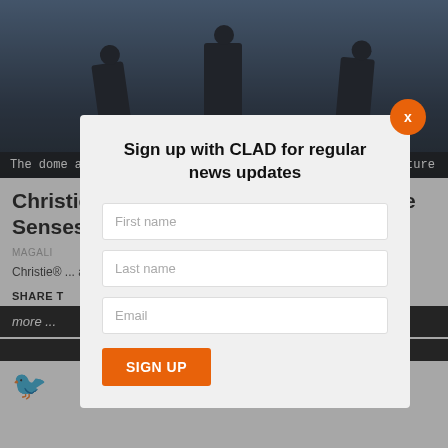[Figure (photo): Three silhouetted figures standing on what appears to be a rooftop or elevated structure, against a blue sky with a curved building or dome in the background.]
The dome aims to integrate technology with arts and culture
Christie laser projectors power new Five Senses Bubble dome theatre
MAGALI ...
Christie® ... and lifelike vi...
SHARE T
more ...
[Figure (screenshot): A popup modal dialog overlaying the page content. It has a title 'Sign up with CLAD for regular news updates', three input fields (First name, Last name, Email), and a SIGN UP button in orange. There is an orange X close button in the top right of the modal.]